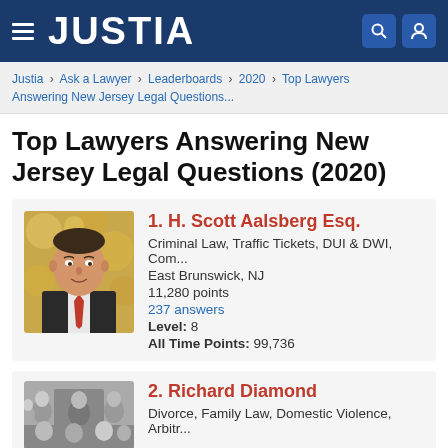JUSTIA
Justia › Ask a Lawyer › Leaderboards › 2020 › Top Lawyers Answering New Jersey Legal Questions...
Top Lawyers Answering New Jersey Legal Questions (2020)
[Figure (photo): Headshot of H. Scott Aalsberg Esq., a man in a suit with a red tie, against a golden bokeh background]
1. H. Scott Aalsberg Esq.
Criminal Law, Traffic Tickets, DUI & DWI, Com...
East Brunswick, NJ
11,280 points
237 answers
Level: 8
All Time Points: 99,736
[Figure (photo): Group photo in black and white showing Richard Diamond with colleagues]
2. Richard Diamond
Divorce, Family Law, Domestic Violence, Arbitr...